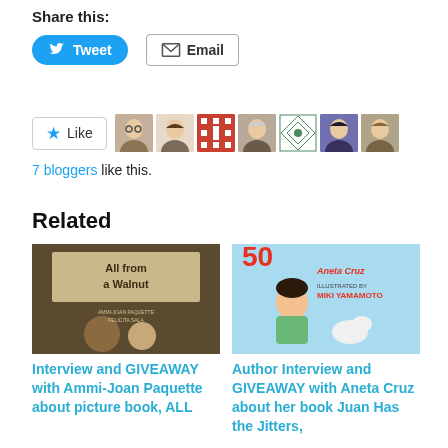Share this:
[Figure (screenshot): Tweet button (blue rounded) and Email button (outlined) for sharing]
[Figure (screenshot): Like button with star icon and 7 blogger avatar images]
7 bloggers like this.
Related
[Figure (photo): Book cover: All from a Walnut - illustrated cover showing elderly man and child]
Interview and GIVEAWAY with Ammi-Joan Paquette about picture book, ALL
[Figure (photo): Book cover: Juan Has the Jitters by Aneta Cruz - illustrated cover showing boy with dog]
Author Interview and GIVEAWAY with Aneta Cruz about her book Juan Has the Jitters,